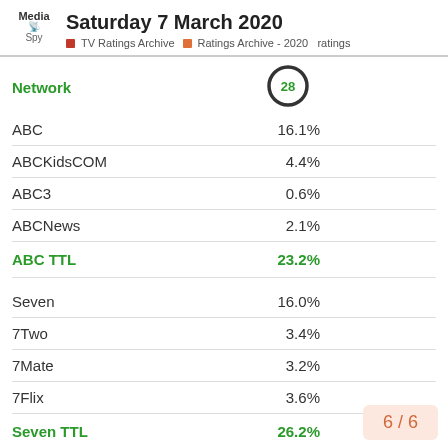Saturday 7 March 2020 | TV Ratings Archive | Ratings Archive - 2020 ratings
| Network | 28 (icon) |  |
| --- | --- | --- |
| ABC | 16.1% |  |
| ABCKidsCOM | 4.4% |  |
| ABC3 | 0.6% |  |
| ABCNews | 2.1% |  |
| ABC TTL | 23.2% |  |
| Seven | 16.0% |  |
| 7Two | 3.4% |  |
| 7Mate | 3.2% |  |
| 7Flix | 3.6% |  |
| Seven TTL | 26.2% |  |
6 / 6